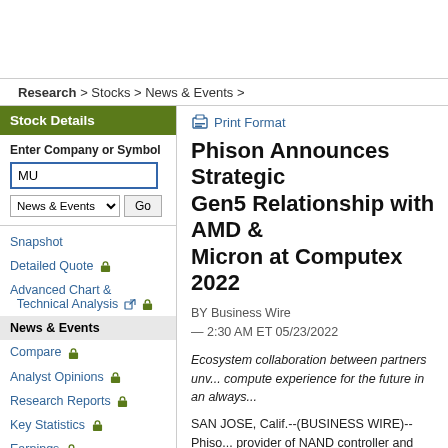Research > Stocks > News & Events >
Stock Details
Enter Company or Symbol
MU
Snapshot
Detailed Quote
Advanced Chart & Technical Analysis
News & Events
Compare
Analyst Opinions
Research Reports
Key Statistics
Earnings
Print Format
Phison Announces Strategic Gen5 Relationship with AMD and Micron at Computex 2022
BY Business Wire
— 2:30 AM ET 05/23/2022
Ecosystem collaboration between partners unv... compute experience for the future in an always...
SAN JOSE, Calif.--(BUSINESS WIRE)-- Phiso... provider of NAND controller and flash storage s... collaboration with AMD (NASDAQ: AMD) and M... PCIe Gen5 ecosystem of compatible products... Phison's role includes delivering a class-leadin... that features nearly a 2x performance increase... adhering to the same power limitations of the M...